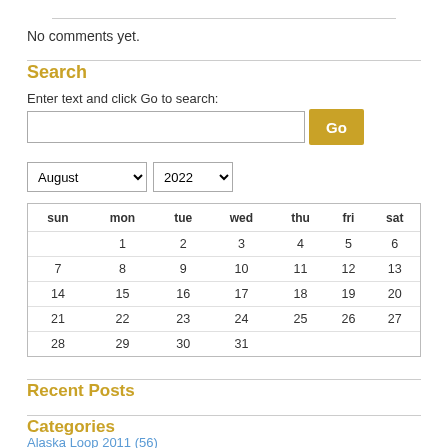No comments yet.
Search
Enter text and click Go to search:
| sun | mon | tue | wed | thu | fri | sat |
| --- | --- | --- | --- | --- | --- | --- |
|  | 1 | 2 | 3 | 4 | 5 | 6 |
| 7 | 8 | 9 | 10 | 11 | 12 | 13 |
| 14 | 15 | 16 | 17 | 18 | 19 | 20 |
| 21 | 22 | 23 | 24 | 25 | 26 | 27 |
| 28 | 29 | 30 | 31 |  |  |  |
Recent Posts
Categories
Alaska Loop 2011 (56)